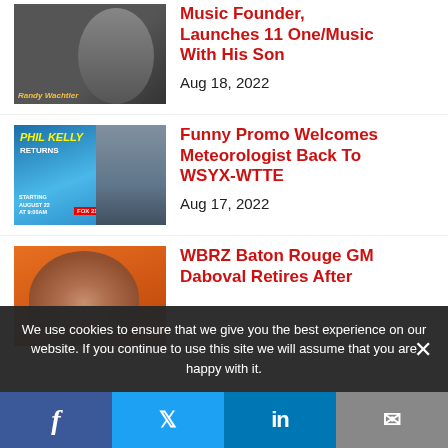[Figure (photo): Thumbnail photo of a person (Randy Wachtler) in dark clothing against dark background, with caption 'Randy Wachtler']
Music Founder, Launches 11 One/Music With His Son
Aug 18, 2022
[Figure (photo): Promo image for Phil Kelly Returns on Good Day, Fox 21, starting August 22 at 9:00am, showing man in blue suit]
Funny Promo Welcomes Meteorologist Back To WSYX-WTTE
Aug 17, 2022
[Figure (photo): Photo of smiling man against orange background - WBRZ Baton Rouge GM Daboval]
WBRZ Baton Rouge GM Daboval Retires After
We use cookies to ensure that we give you the best experience on our website. If you continue to use this site we will assume that you are happy with it.